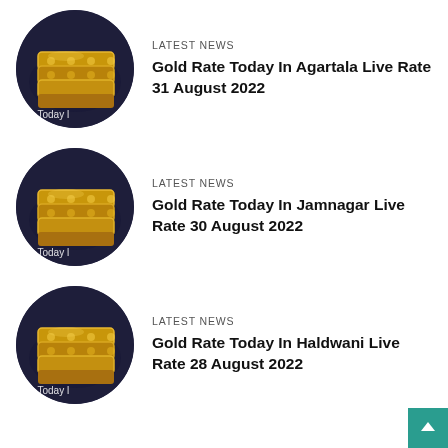[Figure (photo): Circular thumbnail of gold jewellery/bangles on dark background with watermark text 'ate Today l']
LATEST NEWS
Gold Rate Today In Agartala Live Rate 31 August 2022
[Figure (photo): Circular thumbnail of gold jewellery/bangles on dark background with watermark text 'ate Today l']
LATEST NEWS
Gold Rate Today In Jamnagar Live Rate 30 August 2022
[Figure (photo): Circular thumbnail of gold jewellery/bangles on dark background with watermark text 'ate Today l']
LATEST NEWS
Gold Rate Today In Haldwani Live Rate 28 August 2022